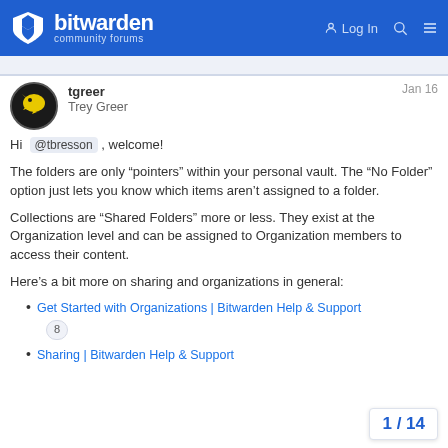bitwarden community forums — Log In
tgreer Trey Greer Jan 16
Hi @tbresson , welcome!
The folders are only “pointers” within your personal vault. The “No Folder” option just lets you know which items aren’t assigned to a folder.
Collections are “Shared Folders” more or less. They exist at the Organization level and can be assigned to Organization members to access their content.
Here’s a bit more on sharing and organizations in general:
Get Started with Organizations | Bitwarden Help & Support
Sharing | Bitwarden Help & Support
1 / 14